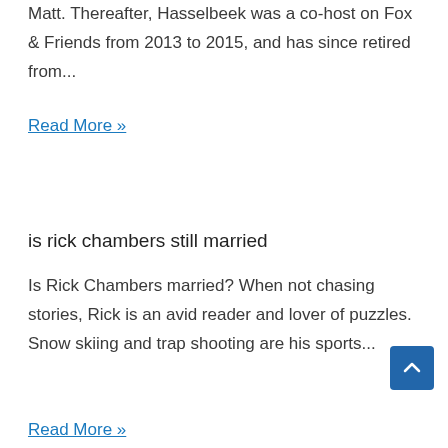Matt. Thereafter, Hasselbeek was a co-host on Fox & Friends from 2013 to 2015, and has since retired from...
Read More »
is rick chambers still married
Is Rick Chambers married? When not chasing stories, Rick is an avid reader and lover of puzzles. Snow skiing and trap shooting are his sports...
Read More »